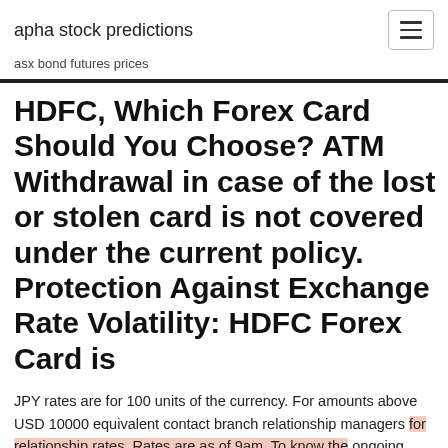apha stock predictions
asx bond futures prices
HDFC, Which Forex Card Should You Choose? ATM Withdrawal in case of the lost or stolen card is not covered under the current policy. Protection Against Exchange Rate Volatility: HDFC Forex Card is
JPY rates are for 100 units of the currency. For amounts above USD 10000 equivalent contact branch relationship managers for relationship rates. Rates are as of 9am. To know the ongoing rates please contact Kotak Mahindra Bank branch or